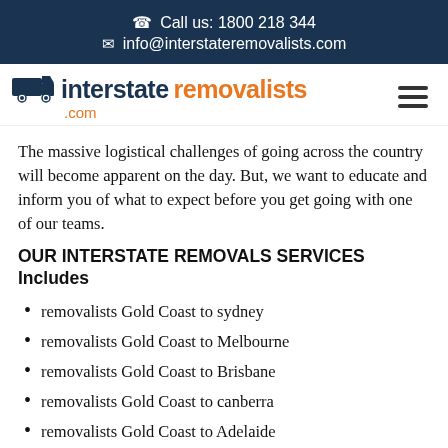Call us: 1800 218 344
info@interstateremovalists.com
[Figure (logo): Interstate Removalists logo with truck icon, 'interstate' in dark blue bold, 'removalists' in orange bold, '.com' in orange below]
The massive logistical challenges of going across the country will become apparent on the day. But, we want to educate and inform you of what to expect before you get going with one of our teams.
OUR INTERSTATE REMOVALS SERVICES Includes
removalists Gold Coast to sydney
removalists Gold Coast to Melbourne
removalists Gold Coast to Brisbane
removalists Gold Coast to canberra
removalists Gold Coast to Adelaide